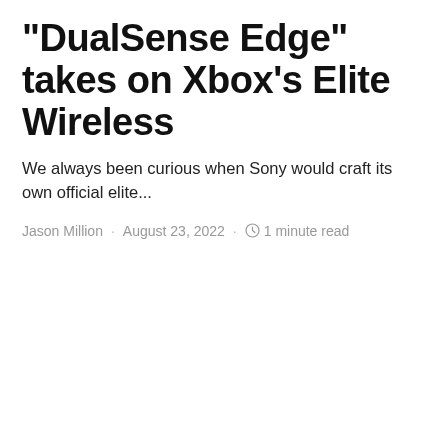"DualSense Edge" takes on Xbox's Elite Wireless
We always been curious when Sony would craft its own official elite...
Jason Million · August 23, 2022 · 1 minute read